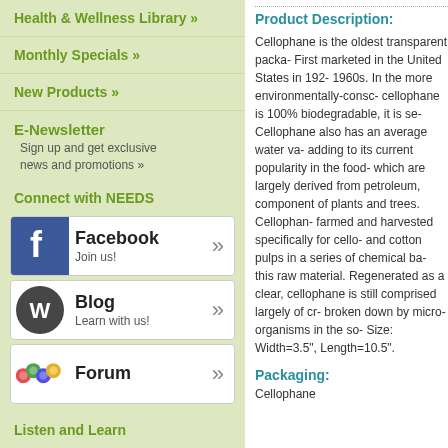Health & Wellness Library »
Monthly Specials »
New Products »
E-Newsletter
Sign up and get exclusive news and promotions »
Connect with NEEDS
[Figure (screenshot): Facebook social link button with Facebook logo, text 'Facebook' and 'Join us!' with right arrow]
[Figure (screenshot): WordPress Blog link button with WordPress logo, text 'Blog' and 'Learn with us!' with right arrow]
[Figure (screenshot): Forum link button with colorful balls icon and text 'Forum' with right arrow]
Listen and Learn
Product Description:
Cellophane is the oldest transparent packa- First marketed in the United States in 192- 1960s. In the more environmentally-consc- cellophane is 100% biodegradable, it is se- Cellophane also has an average water va- adding to its current popularity in the food- which are largely derived from petroleum,- component of plants and trees. Cellophan- farmed and harvested specifically for cello- and cotton pulps in a series of chemical ba- this raw material. Regenerated as a clear,- cellophane is still comprised largely of cr- broken down by micro-organisms in the so- Size: Width=3.5", Length=10.5".
Packaging:
Cellophane